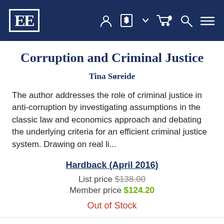EE [logo] navigation header
Corruption and Criminal Justice
Tina Søreide
The author addresses the role of criminal justice in anti-corruption by investigating assumptions in the classic law and economics approach and debating the underlying criteria for an efficient criminal justice system. Drawing on real li...
Hardback (April 2016)
List price $138.00
Member price $124.20
Out of Stock
eBook: $40.00
Find out more